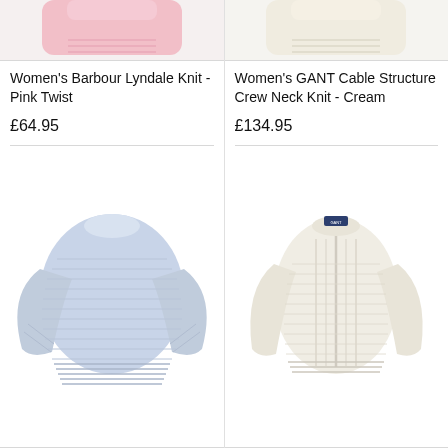[Figure (photo): Partial top of Women's Barbour Lyndale Knit in Pink Twist — cropped at top]
Women's Barbour Lyndale Knit - Pink Twist
£64.95
[Figure (photo): Partial top of Women's GANT Cable Structure Crew Neck Knit in Cream — cropped at top]
Women's GANT Cable Structure Crew Neck Knit - Cream
£134.95
[Figure (photo): Women's light blue crew neck knit sweater with ribbed texture, long sleeves, boxy relaxed fit]
[Figure (photo): Women's cream/white crew neck cable knit sweater with ribbed detail, long sleeves, fitted style, small navy label at neckline]